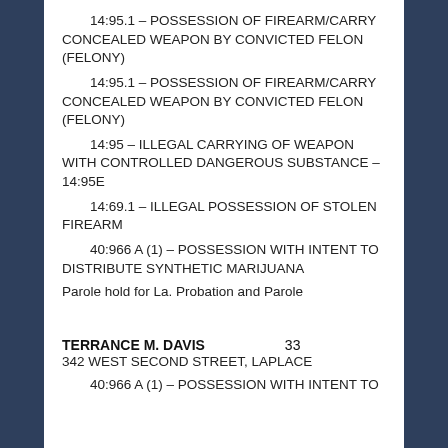14:95.1 – POSSESSION OF FIREARM/CARRY CONCEALED WEAPON BY CONVICTED FELON (FELONY)
14:95.1 – POSSESSION OF FIREARM/CARRY CONCEALED WEAPON BY CONVICTED FELON (FELONY)
14:95 – ILLEGAL CARRYING OF WEAPON WITH CONTROLLED DANGEROUS SUBSTANCE – 14:95E
14:69.1 – ILLEGAL POSSESSION OF STOLEN FIREARM
40:966 A (1)  – POSSESSION WITH INTENT TO DISTRIBUTE SYNTHETIC MARIJUANA
Parole hold for La. Probation and Parole
TERRANCE M. DAVIS    33
342 WEST SECOND STREET, LAPLACE
40:966 A (1)  – POSSESSION WITH INTENT TO